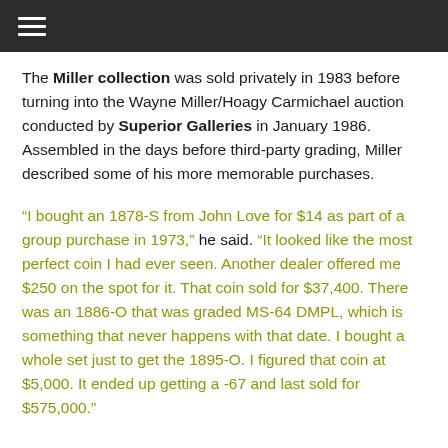☰
The Miller collection was sold privately in 1983 before turning into the Wayne Miller/Hoagy Carmichael auction conducted by Superior Galleries in January 1986. Assembled in the days before third-party grading, Miller described some of his more memorable purchases.
“I bought an 1878-S from John Love for $14 as part of a group purchase in 1973,” he said. “It looked like the most perfect coin I had ever seen. Another dealer offered me $250 on the spot for it. That coin sold for $37,400. There was an 1886-O that was graded MS-64 DMPL, which is something that never happens with that date. I bought a whole set just to get the 1895-O. I figured that coin at $5,000. It ended up getting a -67 and last sold for $575,000.”